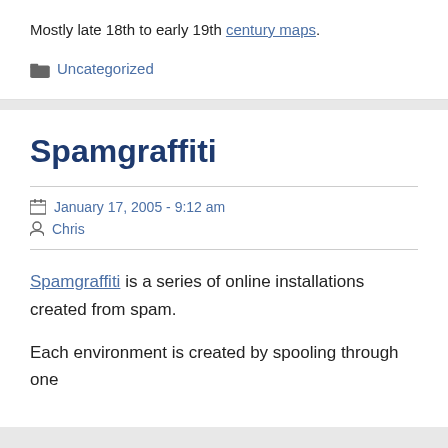Mostly late 18th to early 19th century maps.
Uncategorized
Spamgraffiti
January 17, 2005 - 9:12 am
Chris
Spamgraffiti is a series of online installations created from spam.
Each environment is created by spooling through one